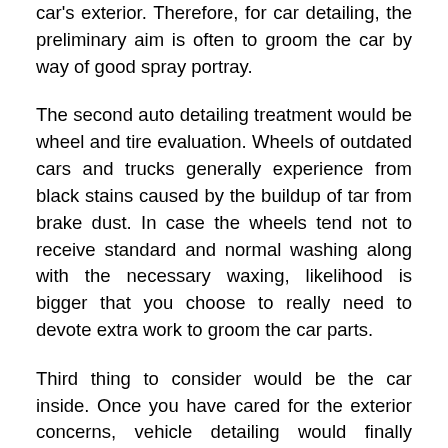car's exterior. Therefore, for car detailing, the preliminary aim is often to groom the car by way of good spray portray.
The second auto detailing treatment would be wheel and tire evaluation. Wheels of outdated cars and trucks generally experience from black stains caused by the buildup of tar from brake dust. In case the wheels tend not to receive standard and normal washing along with the necessary waxing, likelihood is bigger that you choose to really need to devote extra work to groom the car parts.
Third thing to consider would be the car inside. Once you have cared for the exterior concerns, vehicle detailing would finally demand you to definitely get care in the insides. Do not forget that the car interior would be the standard sign of how the vehicle continues to be used and taken care on the consumer.